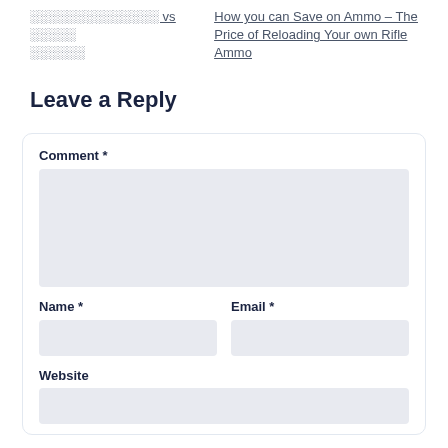░░░░░░░░░░░░░░ vs ░░░░░ ░░░░░░
How you can Save on Ammo – The Price of Reloading Your own Rifle Ammo
Leave a Reply
Comment *
Name *
Email *
Website